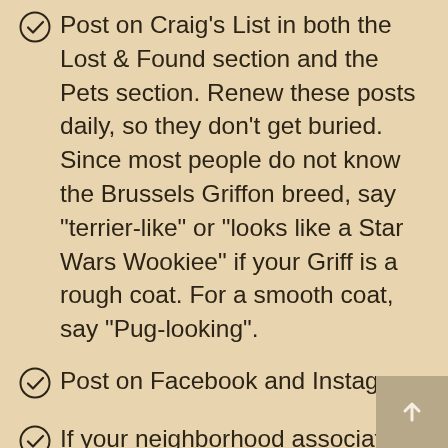Post on Craig's List in both the Lost & Found section and the Pets section. Renew these posts daily, so they don't get buried. Since most people do not know the Brussels Griffon breed, say "terrier-like" or "looks like a Star Wars Wookiee" if your Griff is a rough coat. For a smooth coat, say "Pug-looking".
Post on Facebook and Instagram
If your neighborhood association has email alerts, send the information to be blasted.
Place an ad in your local newspaper